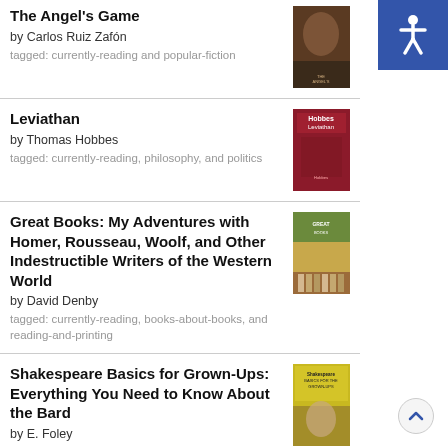The Angel's Game by Carlos Ruiz Zafón tagged: currently-reading and popular-fiction
Leviathan by Thomas Hobbes tagged: currently-reading, philosophy, and politics
Great Books: My Adventures with Homer, Rousseau, Woolf, and Other Indestructible Writers of the Western World by David Denby tagged: currently-reading, books-about-books, and reading-and-printing
Shakespeare Basics for Grown-Ups: Everything You Need to Know About the Bard by E. Foley tagged: currently-reading and shakespeare
The Potato: How the Humble Spud Rescued the Western World by Larry Zuckerman